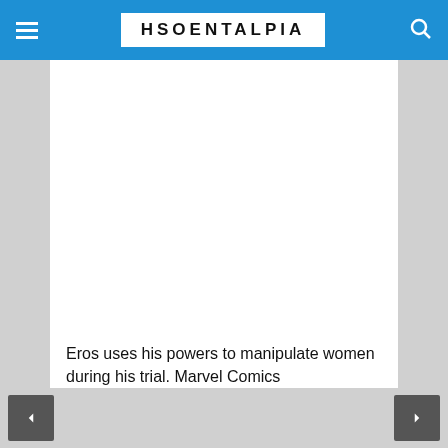HSOENTALPIA
[Figure (photo): Large white/blank image area — a Marvel Comics image of Eros using his powers to manipulate women during his trial]
Eros uses his powers to manipulate women during his trial. Marvel Comics
She-Hulk (who's getting a show on Disney+) was